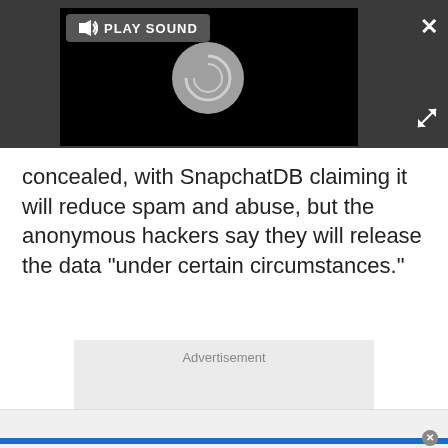[Figure (screenshot): Video player overlay on dark gray background with PLAY SOUND button, spinner/loading circle, close X button, and expand icon]
concealed, with SnapchatDB claiming it will reduce spam and abuse, but the anonymous hackers say they will release the data "under certain circumstances."
Advertisement